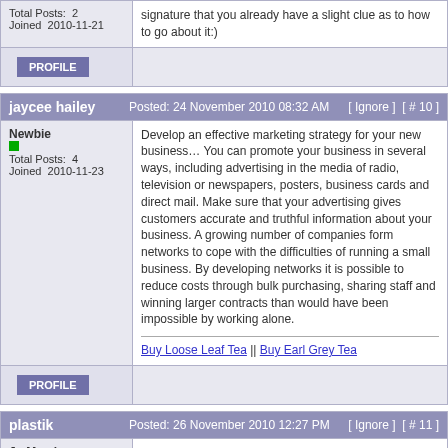Total Posts: 2
Joined 2010-11-21
signature that you already have a slight clue as to how to go about it:)
PROFILE
jaycee hailey  Posted: 24 November 2010 08:32 AM  [ Ignore ]  [ # 10 ]
Newbie
Total Posts: 4
Joined 2010-11-23
Develop an effective marketing strategy for your new business… You can promote your business in several ways, including advertising in the media of radio, television or newspapers, posters, business cards and direct mail. Make sure that your advertising gives customers accurate and truthful information about your business. A growing number of companies form networks to cope with the difficulties of running a small business. By developing networks it is possible to reduce costs through bulk purchasing, sharing staff and winning larger contracts than would have been impossible by working alone.
Buy Loose Leaf Tea || Buy Earl Grey Tea
PROFILE
plastik  Posted: 26 November 2010 12:27 PM  [ Ignore ]  [ # 11 ]
Jr. Member
Total Posts: 11
It's a risky undertaking, and most who try it don't end up with the success they envisioned.